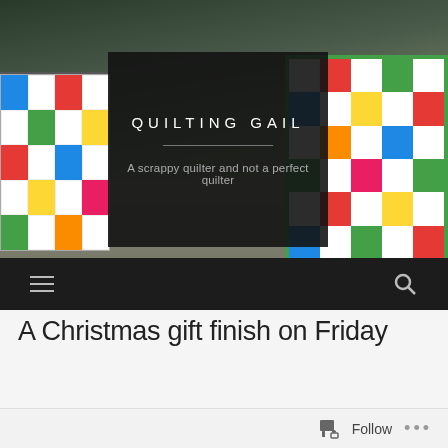[Figure (photo): Outdoor photo of colorful quilts hanging on a clothesline against trees, with a dark semi-transparent overlay box showing the blog title and tagline]
QUILTING GAIL
A scrappy quilter and not a perfect quilter
A Christmas gift finish on Friday